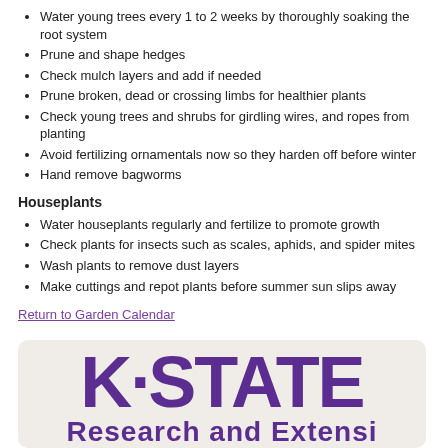Water young trees every 1 to 2 weeks by thoroughly soaking the root system
Prune and shape hedges
Check mulch layers and add if needed
Prune broken, dead or crossing limbs for healthier plants
Check young trees and shrubs for girdling wires, and ropes from planting
Avoid fertilizing ornamentals now so they harden off before winter
Hand remove bagworms
Houseplants
Water houseplants regularly and fertilize to promote growth
Check plants for insects such as scales, aphids, and spider mites
Wash plants to remove dust layers
Make cuttings and repot plants before summer sun slips away
Return to Garden Calendar
[Figure (logo): K-STATE logo in large bold purple letters on a light beige/gray rounded rectangle background, with partial text below reading Research and Extension]